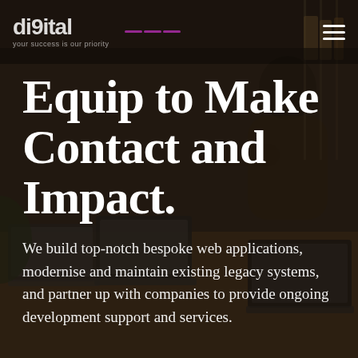[Figure (photo): Background photo of an office workspace with people working on laptops around a table, dark/warm toned]
di9ital
Equip to Make Contact and Impact.
We build top-notch bespoke web applications, modernise and maintain existing legacy systems, and partner up with companies to provide ongoing development support and services.